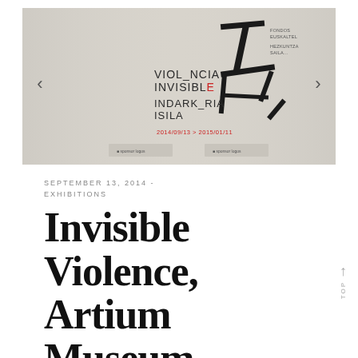[Figure (photo): Exhibition photo showing a banner/poster for 'Violencia Invisible / Indark_ria Isila' at Artium Museum. The poster features a broken chair graphic in black, text reading VIOL_NCIA INVISIBLE INDARK_RIA ISILA with dates 2014/09/13 > 2015/01/11. Navigation arrows visible on left and right sides.]
SEPTEMBER 13, 2014 - EXHIBITIONS
Invisible Violence, Artium Museum, Spain (2014-2015)